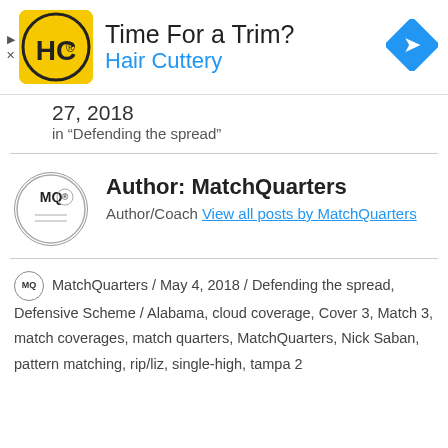[Figure (other): Hair Cuttery advertisement banner with HC logo, 'Time For a Trim?' headline, 'Hair Cuttery' subtext in blue, and a blue navigation arrow icon on the right.]
27, 2018
in "Defending the spread"
Author: MatchQuarters
Author/Coach View all posts by MatchQuarters
MatchQuarters / May 4, 2018 / Defending the spread, Defensive Scheme / Alabama, cloud coverage, Cover 3, Match 3, match coverages, match quarters, MatchQuarters, Nick Saban, pattern matching, rip/liz, single-high, tampa 2